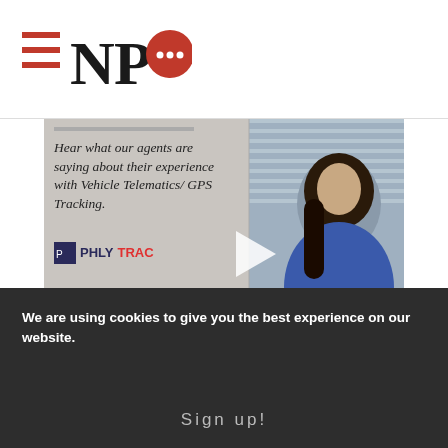[Figure (logo): NPQ logo with three horizontal lines and speech bubble icon in red]
[Figure (screenshot): Video thumbnail showing a woman in blue top with text: Hear what our agents are saying about their experience with Vehicle Telematics/GPS Tracking. PhlyTRAC logo at bottom left. Play button in center.]
[Figure (logo): Philadelphia Insurance Companies logo with Liberty Bell icon. A Member of the Tokio Marine Group.]
We are using cookies to give you the best experience on our website.
Sign up!